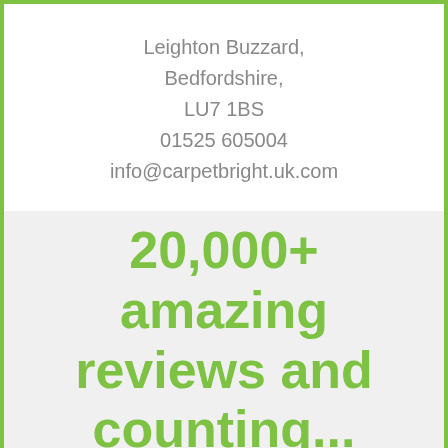Leighton Buzzard,
Bedfordshire,
LU7 1BS
01525 605004
info@carpetbright.uk.com
20,000+ amazing reviews and counting...